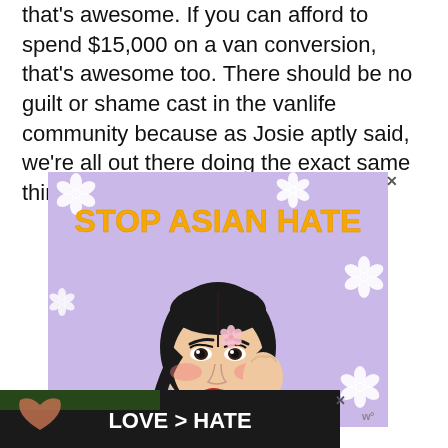that's awesome. If you can afford to spend $15,000 on a van conversion, that's awesome too. There should be no guilt or shame cast in the vanlife community because as Josie aptly said, we're all out there doing the exact same thing.
[Figure (illustration): Advertisement with purple background showing an illustrated Asian woman with black hair, a flower accessory, rosy cheeks, red lips, wearing a white turtleneck sweater, surrounded by white flowers. Bold orange/yellow text at top reads 'STOP ASIAN HATE'. Close button (X) visible in top right corner.]
[Figure (photo): Advertisement with dark background showing two hands forming a heart shape with text 'LOVE > HATE' in white bold letters. Close button (X) visible. Wordmark visible at right edge.]